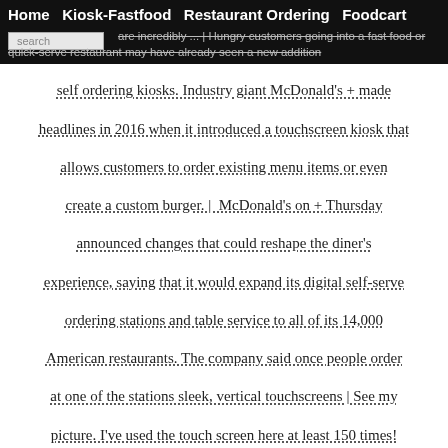Home  Kiosk-Fastfood  Restaurant Ordering  Foodcart
are incredibly ... | Hungry customers going into a fast food or quick-serve restaurant may have already seen a new addition self ordering kiosks. Industry giant McDonald's + made headlines in 2016 when it introduced a touchscreen kiosk that allows customers to order existing menu items or even create a custom burger. | McDonald's on + Thursday announced changes that could reshape the diner's experience, saying that it would expand its digital self-serve ordering stations and table service to all of its 14,000 American restaurants. The company said once people order at one of the stations sleek, vertical touchscreens | See my picture. I've used the touch screen here at least 150 times! Please don't get me started on why that is. Anyway, I think I'm qualified to answer. * First, they are huge and double + sided. My McDonald's has two of them so they can service fou | Abstract Automation has gained importance in every field of